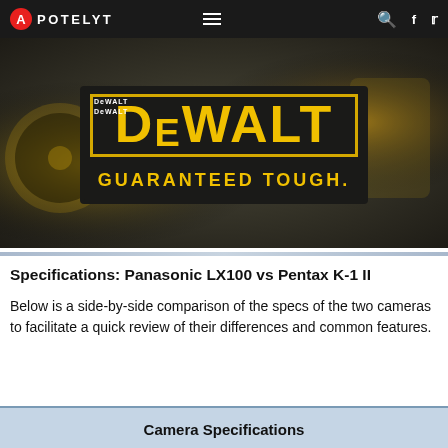APOTELYT
[Figure (photo): DeWalt advertisement banner showing DeWalt power tools in background with large DeWalt logo sign reading 'GUARANTEED TOUGH.']
Specifications: Panasonic LX100 vs Pentax K-1 II
Below is a side-by-side comparison of the specs of the two cameras to facilitate a quick review of their differences and common features.
| Camera Specifications |
| --- |